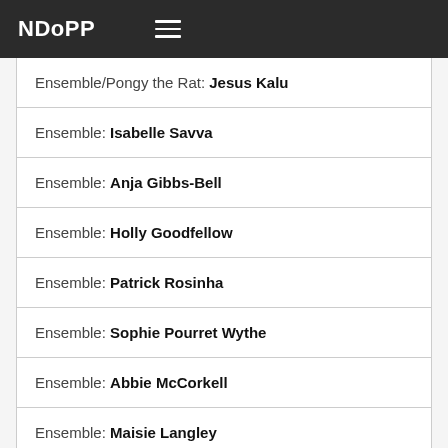NDoPP
Ensemble/Pongy the Rat: Jesus Kalu
Ensemble: Isabelle Savva
Ensemble: Anja Gibbs-Bell
Ensemble: Holly Goodfellow
Ensemble: Patrick Rosinha
Ensemble: Sophie Pourret Wythe
Ensemble: Abbie McCorkell
Ensemble: Maisie Langley
Ensemble: Sarah Gallagher
Ensemble: Hailey Hobbs